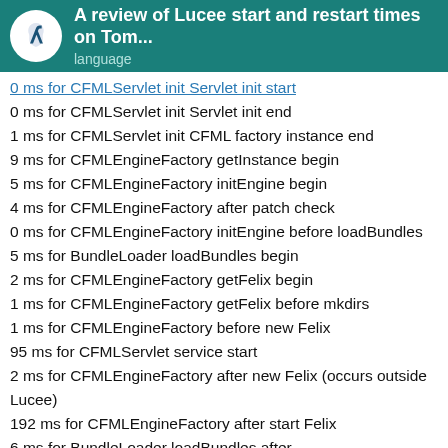A review of Lucee start and restart times on Tom… | language
0 ms for CFMLServlet init Servlet init start (partial, cut off)
0 ms for CFMLServlet init Servlet init end
1 ms for CFMLServlet init CFML factory instance end
9 ms for CFMLEngineFactory getInstance begin
5 ms for CFMLEngineFactory initEngine begin
4 ms for CFMLEngineFactory after patch check
0 ms for CFMLEngineFactory initEngine before loadBundles
5 ms for BundleLoader loadBundles begin
2 ms for CFMLEngineFactory getFelix begin
1 ms for CFMLEngineFactory getFelix before mkdirs
1 ms for CFMLEngineFactory before new Felix
95 ms for CFMLServlet service start
2 ms for CFMLEngineFactory after new Felix (occurs outside Lucee)
192 ms for CFMLEngineFactory after start Felix
6 ms for BundleLoader loadBundles after loadAvailableBundles
13 ms for BundleLoader loadBundles after adding all bundles
0 ms for BundleUtil.start begin
1 ms for Bundle.start before bundle load w…
0 ms for Bundle.start bundles loaded (partial)
7 / 10